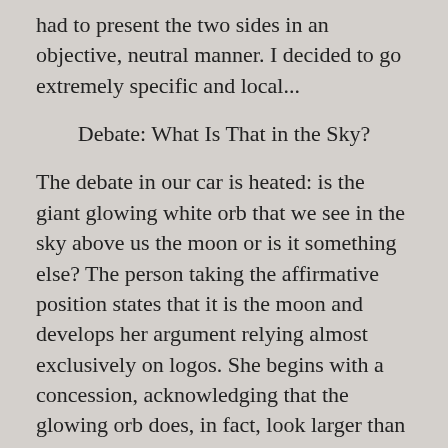had to present the two sides in an objective, neutral manner. I decided to go extremely specific and local...
Debate: What Is That in the Sky?
The debate in our car is heated: is the giant glowing white orb that we see in the sky above us the moon or is it something else? The person taking the affirmative position states that it is the moon and develops her argument relying almost exclusively on logos. She begins with a concession, acknowledging that the glowing orb does, in fact, look larger than usual, which is part of what attracted the attention of the